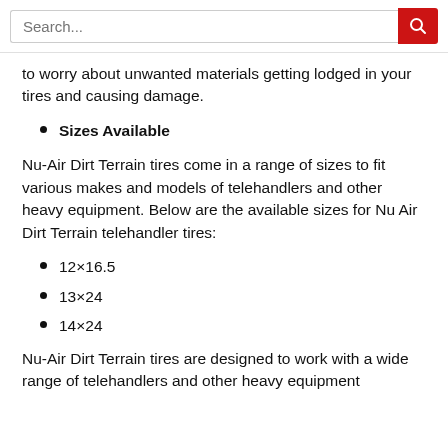Search...
to worry about unwanted materials getting lodged in your tires and causing damage.
Sizes Available
Nu-Air Dirt Terrain tires come in a range of sizes to fit various makes and models of telehandlers and other heavy equipment. Below are the available sizes for Nu Air Dirt Terrain telehandler tires:
12×16.5
13×24
14×24
Nu-Air Dirt Terrain tires are designed to work with a wide range of telehandlers and other heavy equipment